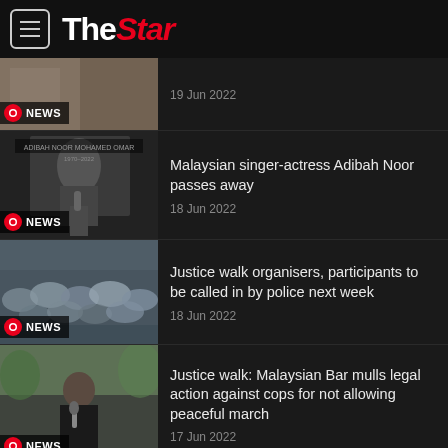The Star
[Figure (photo): News thumbnail - partial crop, top story]
19 Jun 2022
[Figure (photo): Black and white photo of Malaysian singer-actress Adibah Noor with microphone]
Malaysian singer-actress Adibah Noor passes away
18 Jun 2022
[Figure (photo): Crowd of people with umbrellas - Justice walk]
Justice walk organisers, participants to be called in by police next week
18 Jun 2022
[Figure (photo): Woman speaking at microphone outdoors - Malaysian Bar]
Justice walk: Malaysian Bar mulls legal action against cops for not allowing peaceful march
17 Jun 2022
[Figure (photo): Person raising fist at Justice walk]
Justice walk ends peacefully after memorandum handed over to deputy